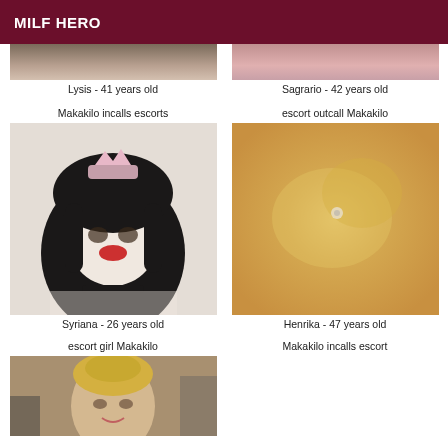MILF HERO
Lysis - 41 years old
Sagrario - 42 years old
Makakilo incalls escorts
escort outcall Makakilo
[Figure (photo): Woman with black bob wig and crown accessory, cosplay style, choker necklace]
[Figure (photo): Close-up blurry skin/body photo with small jewel detail, warm orange-yellow tones]
Syriana - 26 years old
Henrika - 47 years old
escort girl Makakilo
Makakilo incalls escort
[Figure (photo): Blonde woman with hair up, smiling, indoor background]